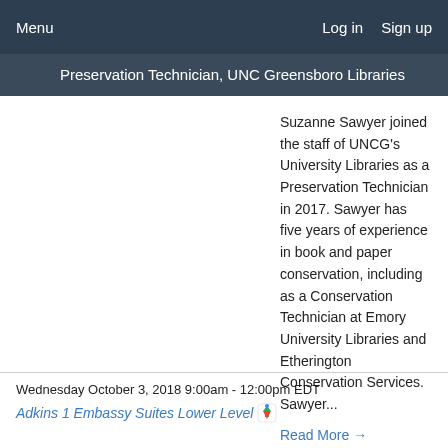Menu    Log in   Sign up
Preservation Technician, UNC Greensboro Libraries
Suzanne Sawyer joined the staff of UNCG's University Libraries as a Preservation Technician in 2017. Sawyer has five years of experience in book and paper conservation, including as a Conservation Technician at Emory University Libraries and Etherington Conservation Services. Sawyer...
Read More →
Wednesday October 3, 2018 9:00am - 12:00pm EDT
Adkins 1 Embassy Suites Lower Level